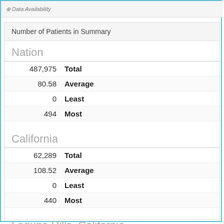Data Availability
Number of Patients in Summary
Nation
| Value | Statistic |
| --- | --- |
| 487,975 | Total |
| 80.58 | Average |
| 0 | Least |
| 494 | Most |
California
| Value | Statistic |
| --- | --- |
| 62,289 | Total |
| 108.52 | Average |
| 0 | Least |
| 440 | Most |
Laguna Hills, California
| Value | Statistic |
| --- | --- |
| 211 | Total |